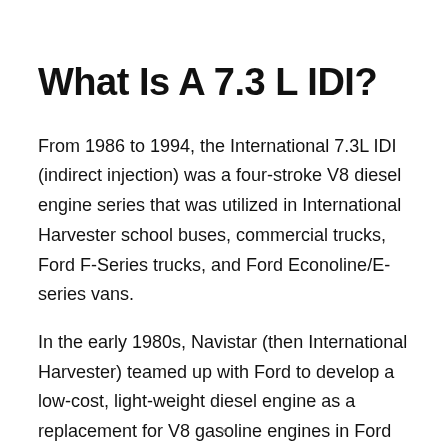What Is A 7.3 L IDI?
From 1986 to 1994, the International 7.3L IDI (indirect injection) was a four-stroke V8 diesel engine series that was utilized in International Harvester school buses, commercial trucks, Ford F-Series trucks, and Ford Econoline/E-series vans.
In the early 1980s, Navistar (then International Harvester) teamed up with Ford to develop a low-cost, light-weight diesel engine as a replacement for V8 gasoline engines in Ford trucks and vans. The